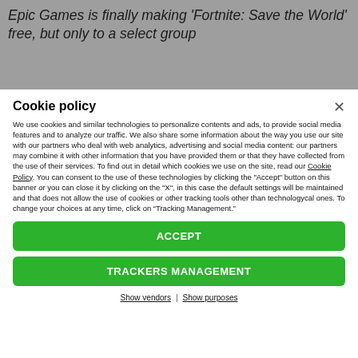Epic Games is finally making 'Fortnite: Save the World' free, but only to a select group
Cookie policy
We use cookies and similar technologies to personalize contents and ads, to provide social media features and to analyze our traffic. We also share some information about the way you use our site with our partners who deal with web analytics, advertising and social media content: our partners may combine it with other information that you have provided them or that they have collected from the use of their services. To find out in detail which cookies we use on the site, read our Cookie Policy. You can consent to the use of these technologies by clicking the "Accept" button on this banner or you can close it by clicking on the "X", in this case the default settings will be maintained and that does not allow the use of cookies or other tracking tools other than technologycal ones. To change your choices at any time, click on “Tracking Management.”
ACCEPT
TRACKERS MANAGEMENT
Show vendors | Show purposes